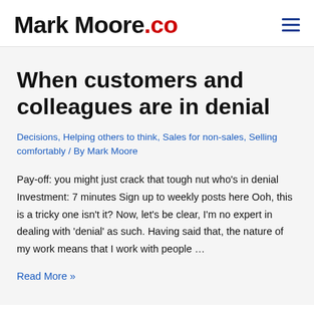Mark Moore.co
When customers and colleagues are in denial
Decisions, Helping others to think, Sales for non-sales, Selling comfortably / By Mark Moore
Pay-off: you might just crack that tough nut who's in denial Investment: 7 minutes Sign up to weekly posts here Ooh, this is a tricky one isn't it? Now, let's be clear, I'm no expert in dealing with 'denial' as such. Having said that, the nature of my work means that I work with people …
Read More »